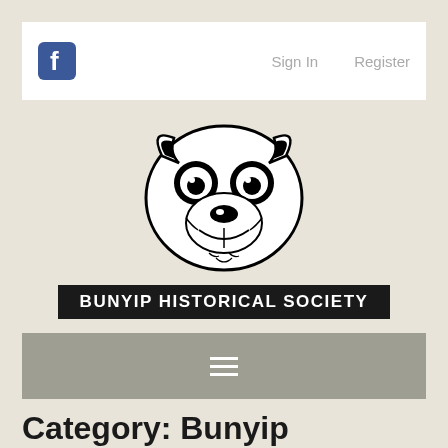Sign In   Register
[Figure (logo): Bunyip Historical Society logo: cartoon bunyip face (black and white illustration) above a black banner reading BUNYIP HISTORICAL SOCIETY in bold white capital letters]
[Figure (other): Hamburger menu icon (three horizontal white lines) on a grey background bar]
Category: Bunyip